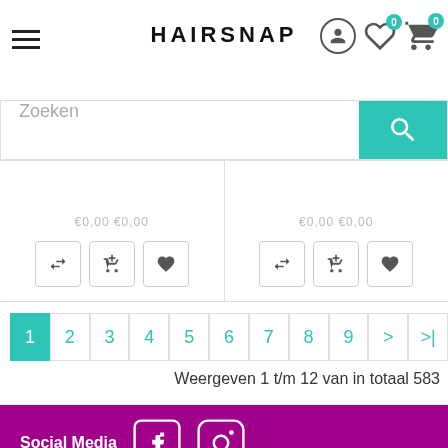[Figure (screenshot): Hairsnap e-commerce website screenshot showing header with logo, search bar, product cards with action buttons, pagination, result count, and footer with social media links and newsletter section]
Weergeven 1 t/m 12 van in totaal 583
Social Media
Nieuwsbrief ontvangen?